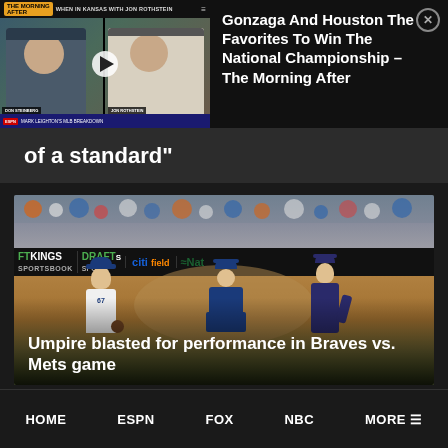[Figure (screenshot): Video thumbnail showing two men in a split-screen video call with 'THE MORNING AFTER' banner and 'WHEN IN KANSAS WITH JON ROTHSTEIN' text overlay. Player name bars visible at bottom of each frame.]
Gonzaga And Houston The Favorites To Win The National Championship – The Morning After
of a standard”
[Figure (photo): Baseball game photo showing a pitcher wearing #67 white uniform walking toward home plate where a catcher in Mets blue uniform crouches. An Atlanta Braves batter stands nearby. Stadium ads for DraftKings Sportsbook, Citi, and Nationwide are visible in the background.]
Umpire blasted for performance in Braves vs. Mets game
HOME   ESPN   FOX   NBC   MORE ≡